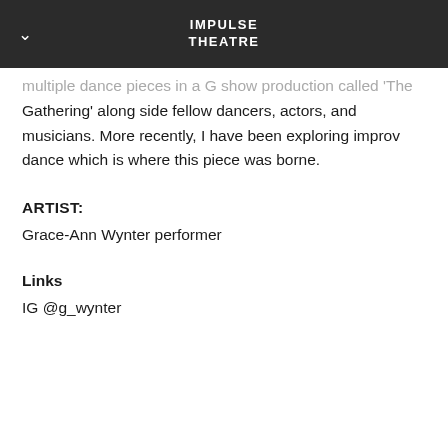IMPULSE THEATRE
multiple dance pieces in a G show production called 'The Gathering' along side fellow dancers, actors, and musicians. More recently, I have been exploring improv dance which is where this piece was borne.
ARTIST:
Grace-Ann Wynter performer
Links
IG @g_wynter